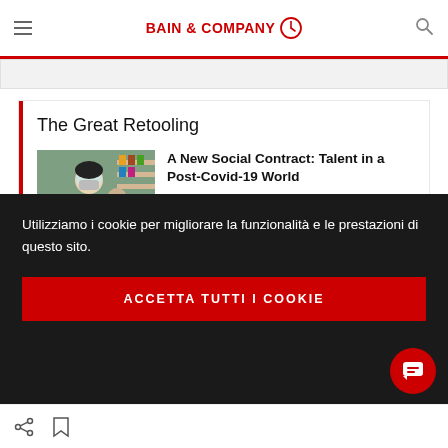BAIN & COMPANY
The Great Retooling
[Figure (photo): Worker in red apron and face mask/shield in a store setting]
A New Social Contract: Talent in a Post-Covid-19 World
Design an organization that supports and celebrates your
Utilizziamo i cookie per migliorare la funzionalità e le prestazioni di questo sito.
ACCETTA TUTTI I COOKIE